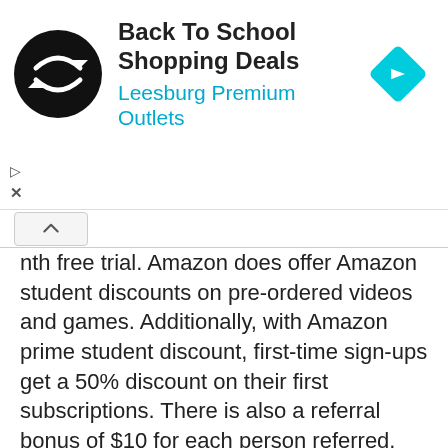[Figure (logo): Advertisement banner: circular black logo with white arrows icon, text 'Back To School Shopping Deals' in bold black, 'Leesburg Premium Outlets' in cyan/teal, and a blue diamond navigation icon on the right]
nth free trial. Amazon does offer Amazon student discounts on pre-ordered videos and games. Additionally, with Amazon prime student discount, first-time sign-ups get a 50% discount on their first subscriptions. There is also a referral bonus of $10 for each person referred.
HBO NOW: With a rich collection of hit movies, shows, and documentaries, HBO has managed to create a dominant stand in the streaming industry. It offers a $14.99 monthly subscription fee. But, with your HBO student discount, you can access it at just